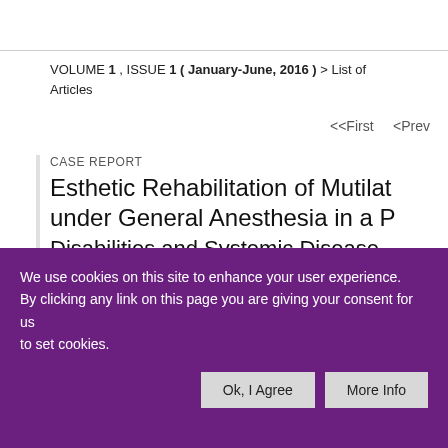VOLUME 1 , ISSUE 1 ( January-June, 2016 ) > List of Articles
<<First    <Prev
CASE REPORT
Esthetic Rehabilitation of Mutilated under General Anesthesia in a P...
We use cookies on this site to enhance your user experience. By clicking any link on this page you are giving your consent for us to set cookies.